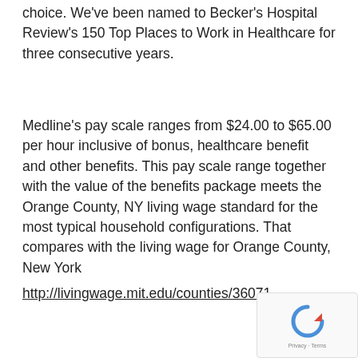choice. We've been named to Becker's Hospital Review's 150 Top Places to Work in Healthcare for three consecutive years.
Medline's pay scale ranges from $24.00 to $65.00 per hour inclusive of bonus, healthcare benefit and other benefits. This pay scale range together with the value of the benefits package meets the Orange County, NY living wage standard for the most typical household configurations. That compares with the living wage for Orange County, New York
http://livingwage.mit.edu/counties/36071
[Figure (other): reCAPTCHA widget with circular arrow icon and Privacy · Terms footer]